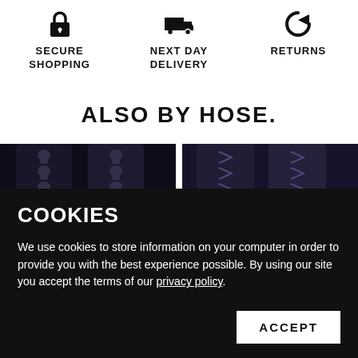[Figure (infographic): Lock icon for Secure Shopping]
SECURE SHOPPING
[Figure (infographic): Delivery truck icon for Next Day Delivery]
NEXT DAY DELIVERY
[Figure (infographic): Returns arrow icon]
RETURNS
ALSO BY HOSE.
[Figure (photo): Dark stockings/tights with skull pattern down the back seam]
[Figure (photo): Dark stockings/tights with bird/arrow pattern down the back seam]
COOKIES
We use cookies to store information on your computer in order to provide you with the best experience possible. By using our site you accept the terms of our privacy policy.
ACCEPT